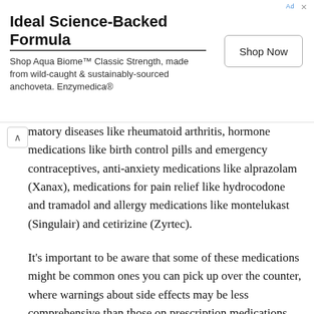[Figure (screenshot): Advertisement banner for Aqua Biome Classic Strength by Enzymedica with title 'Ideal Science-Backed Formula', body text, and Shop Now button]
matory diseases like rheumatoid arthritis, hormone medications like birth control pills and emergency contraceptives, anti-anxiety medications like alprazolam (Xanax), medications for pain relief like hydrocodone and tramadol and allergy medications like montelukast (Singulair) and cetirizine (Zyrtec).
It's important to be aware that some of these medications might be common ones you can pick up over the counter, where warnings about side effects may be less comprehensive than those on prescription medications. Moreover, antidepressants are the only drug class with a black-box warning for suicidal risk. (Black-box warnings are the most serious types of warnings on prescription medication packaging). That means that while plenty of other medications may be associated with depression and suicidal symptoms as potential adverse effects, they may not display obvious warnings for it.